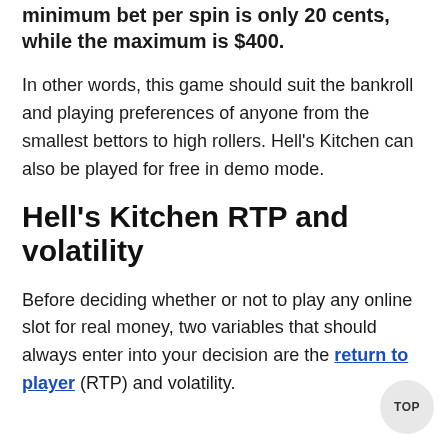minimum bet per spin is only 20 cents, while the maximum is $400.
In other words, this game should suit the bankroll and playing preferences of anyone from the smallest bettors to high rollers. Hell's Kitchen can also be played for free in demo mode.
Hell's Kitchen RTP and volatility
Before deciding whether or not to play any online slot for real money, two variables that should always enter into your decision are the return to player (RTP) and volatility.